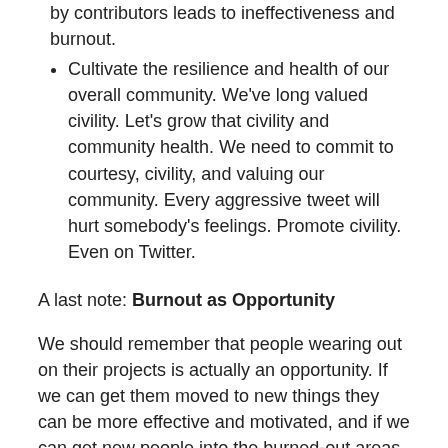by contributors leads to ineffectiveness and burnout.
Cultivate the resilience and health of our overall community. We've long valued civility. Let's grow that civility and community health. We need to commit to courtesy, civility, and valuing our community. Every aggressive tweet will hurt somebody's feelings. Promote civility. Even on Twitter.
A last note: Burnout as Opportunity
We should remember that people wearing out on their projects is actually an opportunity. If we can get them moved to new things they can be more effective and motivated, and if we can get new people into the burned-out areas, we can get better maintenance there. If people know they can move around, they can be refreshed. New blood can be inserted into key